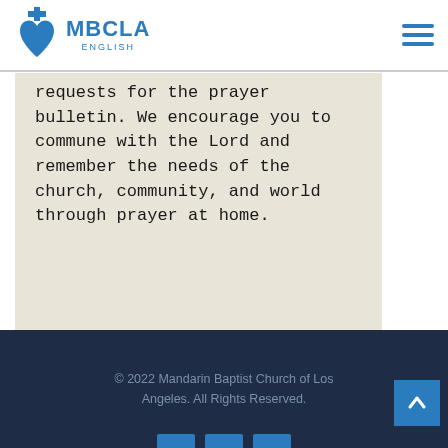MBCLA ENGLISH
requests for the prayer bulletin. We encourage you to commune with the Lord and remember the needs of the church, community, and world through prayer at home.
© 2022 Mandarin Baptist Church of Los Angeles. All Rights Reserved.